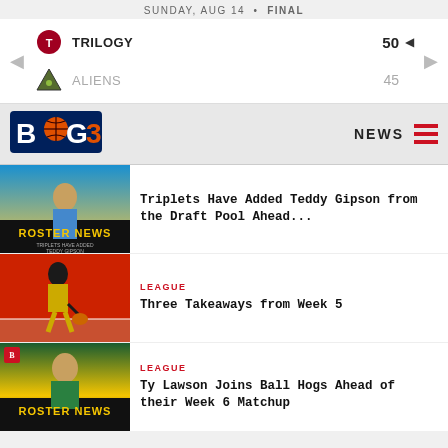SUNDAY, AUG 14 · FINAL
| Team | Score |
| --- | --- |
| TRILOGY | 50 |
| ALIENS | 45 |
[Figure (logo): BIG3 basketball league logo with basketball icon]
NEWS
[Figure (photo): Roster news image with basketball player, yellow text ROSTER NEWS, Triplets have added Teddy Gipson]
Triplets Have Added Teddy Gipson from the Draft Pool Ahead...
[Figure (photo): Basketball player dribbling on red court]
LEAGUE
Three Takeaways from Week 5
[Figure (photo): Roster news image with player in Ball Hogs uniform, yellow text ROSTER NEWS]
LEAGUE
Ty Lawson Joins Ball Hogs Ahead of their Week 6 Matchup